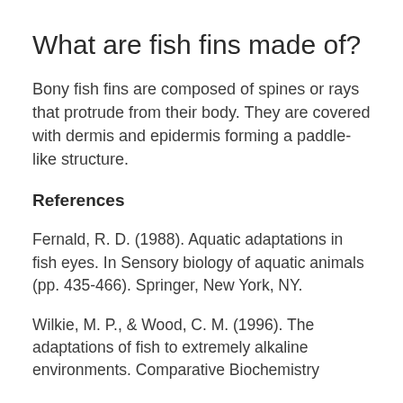What are fish fins made of?
Bony fish fins are composed of spines or rays that protrude from their body. They are covered with dermis and epidermis forming a paddle-like structure.
References
Fernald, R. D. (1988). Aquatic adaptations in fish eyes. In Sensory biology of aquatic animals (pp. 435-466). Springer, New York, NY.
Wilkie, M. P., & Wood, C. M. (1996). The adaptations of fish to extremely alkaline environments. Comparative Biochemistry